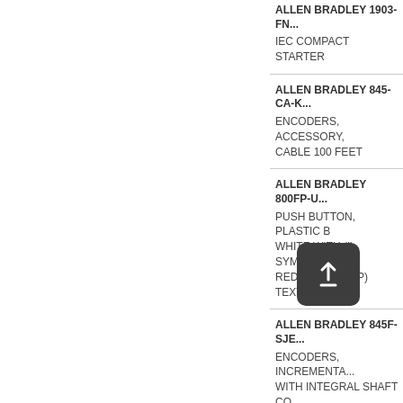ALLEN BRADLEY 1903-FN... IEC COMPACT STARTER
ALLEN BRADLEY 845-CA-K... ENCODERS, ACCESSORY, CABLE 100 FEET
ALLEN BRADLEY 800FP-U... PUSH BUTTON, PLASTIC B WHITE WITH (I) SYMBOL, P RED WITH (STOP) TEXT, SI
ALLEN BRADLEY 845F-SJE... ENCODERS, INCREMENTA... WITH INTEGRAL SHAFT CO
ALLEN BRADLEY 100S-C6... MC... S-C SAFETY CONT...
ALLEN BRADLEY 1492-KG... IDC GROUND BLOCK, THR...
ALLEN BRADLEY 440T-AS... CODE BARREL OFFSET PIN...